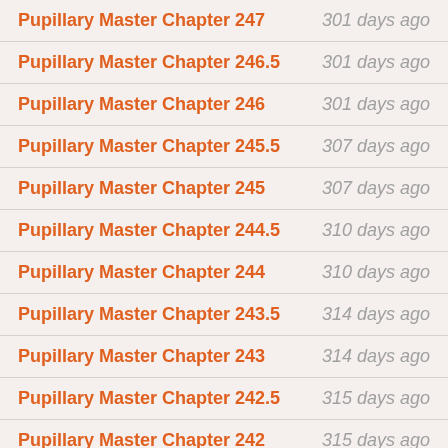Pupillary Master Chapter 247 | 301 days ago
Pupillary Master Chapter 246.5 | 301 days ago
Pupillary Master Chapter 246 | 301 days ago
Pupillary Master Chapter 245.5 | 307 days ago
Pupillary Master Chapter 245 | 307 days ago
Pupillary Master Chapter 244.5 | 310 days ago
Pupillary Master Chapter 244 | 310 days ago
Pupillary Master Chapter 243.5 | 314 days ago
Pupillary Master Chapter 243 | 314 days ago
Pupillary Master Chapter 242.5 | 315 days ago
Pupillary Master Chapter 242 | 315 days ago
Pupillary Master Chapter 241.5 | 320 days ago
Pupillary Master Chapter 241 | 320 days ago